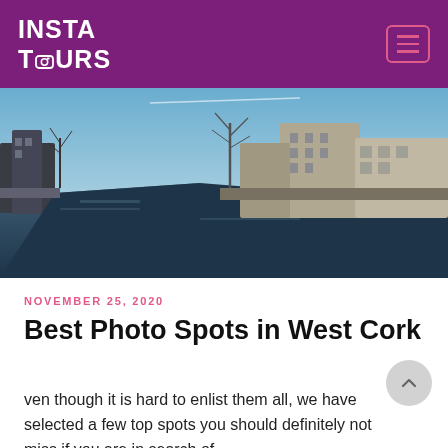INSTA TOURS
[Figure (photo): River scene with stone buildings and bare trees lining both banks, blue sky with light clouds, calm water reflecting surroundings — West Cork, Ireland]
NOVEMBER 25, 2020
Best Photo Spots in West Cork
ven though it is hard to enlist them all, we have selected a few top spots you should definitely not miss if you are in search of